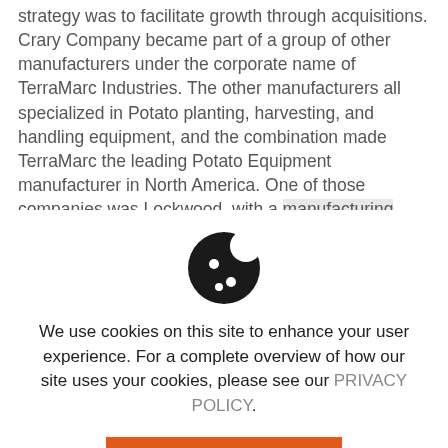strategy was to facilitate growth through acquisitions. Crary Company became part of a group of other manufacturers under the corporate name of TerraMarc Industries. The other manufacturers all specialized in Potato planting, harvesting, and handling equipment, and the combination made TerraMarc the leading Potato Equipment manufacturer in North America. One of those companies was Lockwood, with a manufacturing legacy dating back to 1935. Based in Nebraska in outdated facilities, the decision was made
[Figure (illustration): Cookie icon — a round cookie with bite taken out and three chocolate chip dots]
We use cookies on this site to enhance your user experience. For a complete overview of how our site uses your cookies, please see our PRIVACY POLICY.
HIDE MESSAGE